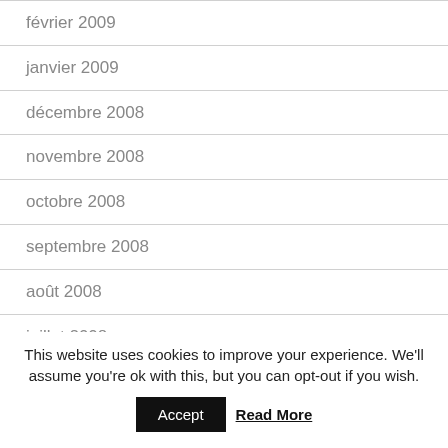février 2009
janvier 2009
décembre 2008
novembre 2008
octobre 2008
septembre 2008
août 2008
juillet 2008
juin 2008
This website uses cookies to improve your experience. We'll assume you're ok with this, but you can opt-out if you wish.
Accept   Read More